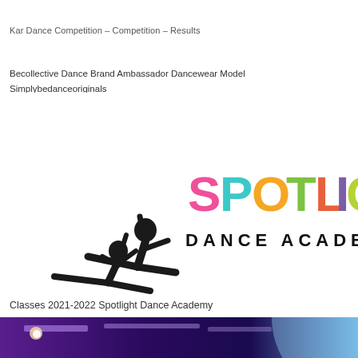Kar Dance Competition – Competition – Results
Becollective Dance Brand Ambassador Dancewear Model Simplybedanceoriginals
[Figure (logo): Spotlight Dance Academy logo with two dancer silhouettes leaping and colorful SPOTLIGHT text with DANCE ACADEMY in black below]
Classes 2021-2022 Spotlight Dance Academy
[Figure (photo): Performance stage with purple and blue lighting, spotlights, and stage equipment]